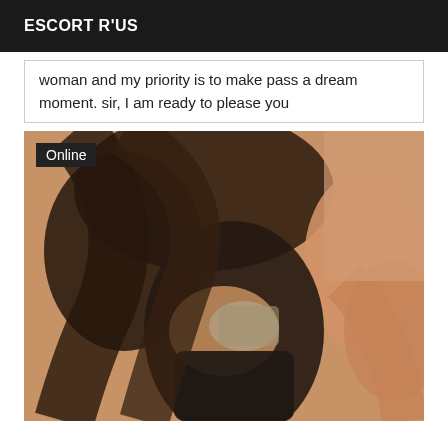ESCORT R'US
woman and my priority is to make pass a dream moment. sir, I am ready to please you
[Figure (photo): Photo of a woman in dark clothing, slightly blurred, warm tones, with an 'Online' badge overlay in the top left corner.]